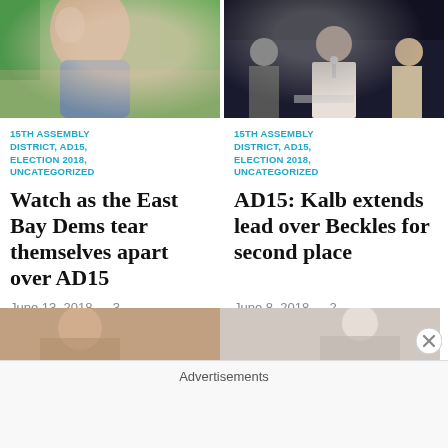[Figure (photo): Photo of a woman outdoors with greenery in background]
[Figure (photo): Photo of people at a panel discussion on a dark background]
15TH ASSEMBLY DISTRICT, AD15, ELECTION 2018, UNCATEGORIZED
Watch as the East Bay Dems tear themselves apart over AD15
June 13, 2018 — 3 Comments
15TH ASSEMBLY DISTRICT, AD15, ELECTION 2018, UNCATEGORIZED
AD15: Kalb extends lead over Beckles for second place
June 8, 2018 — 2 Comments
[Figure (photo): Partial photo at bottom left]
[Figure (photo): Partial photo at bottom right]
Advertisements